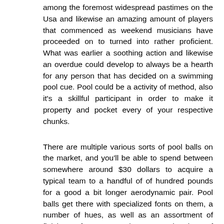among the foremost widespread pastimes on the Usa and likewise an amazing amount of players that commenced as weekend musicians have proceeded on to turned into rather proficient. What was earlier a soothing action and likewise an overdue could develop to always be a hearth for any person that has decided on a swimming pool cue. Pool could be a activity of method, also it's a skillful participant in order to make it property and pocket every of your respective chunks.
There are multiple various sorts of pool balls on the market, and you'll be able to spend between somewhere around $30 dollars to acquire a typical team to a handful of of hundred pounds for a good a bit longer aerodynamic pair. Pool balls get there with specialized fonts on them, a number of hues, as well as an assortment of finishes. A few are very clear among the plenty of many people fully coloured,